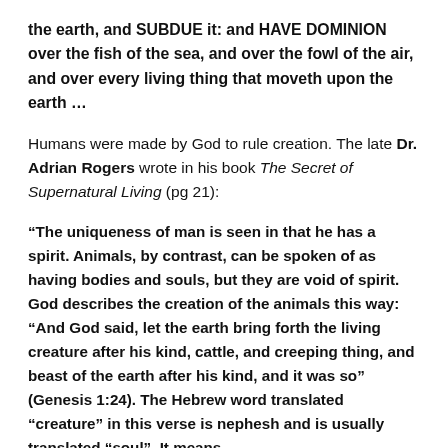the earth, and SUBDUE it: and HAVE DOMINION over the fish of the sea, and over the fowl of the air, and over every living thing that moveth upon the earth …
Humans were made by God to rule creation. The late Dr. Adrian Rogers wrote in his book The Secret of Supernatural Living (pg 21):
“The uniqueness of man is seen in that he has a spirit. Animals, by contrast, can be spoken of as having bodies and souls, but they are void of spirit. God describes the creation of the animals this way: “And God said, let the earth bring forth the living creature after his kind, cattle, and creeping thing, and beast of the earth after his kind, and it was so” (Genesis 1:24). The Hebrew word translated “creature” in this verse is nephesh and is usually translated “soul”. It means